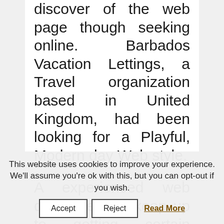discover of the web page though seeking online. Barbados Vacation Lettings, a Travel organization based in United Kingdom, had been looking for a Playful, Modern day Web style.
A experienced web developer will keep up to getting certain typical of current technologies to make certain that your site loads speedily
This website uses cookies to improve your experience. We'll assume you're ok with this, but you can opt-out if you wish.